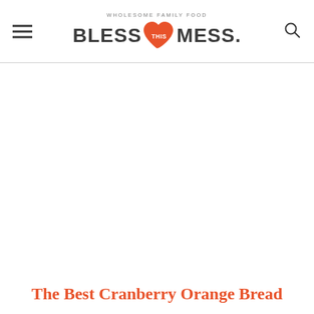WHOLESOME FAMILY FOOD — BLESS THIS MESS.
The Best Cranberry Orange Bread